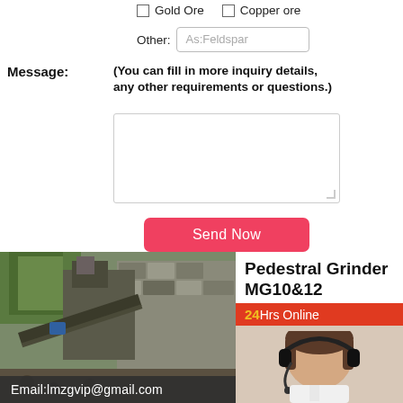Gold Ore  Copper ore
Other: As:Feldspar
Message: (You can fill in more inquiry details, any other requirements or questions.)
Send Now
[Figure (photo): Industrial mining/crushing site with machinery, stone walls, conveyor belts, and green trees in background. Overlay text: Email:lmzgvip@gmail.com]
Pedestral Grinder MG10&12
24Hrs Online